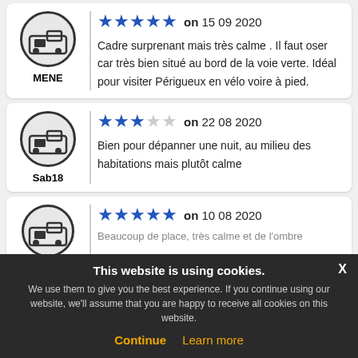MENE — Cadre surprenant mais très calme . Il faut oser car très bien situé au bord de la voie verte. Idéal pour visiter Périgueux en vélo voire à pied. — on 15 09 2020, 5 stars
Sab18 — Bien pour dépanner une nuit, au milieu des habitations mais plutôt calme — on 22 08 2020, 3 stars
on 10 08 2020, 5 stars — Beaucoup de place, très calme et de l'ombre
This website is using cookies. We use them to give you the best experience. If you continue using our website, we'll assume that you are happy to receive all cookies on this website. Continue | Learn more